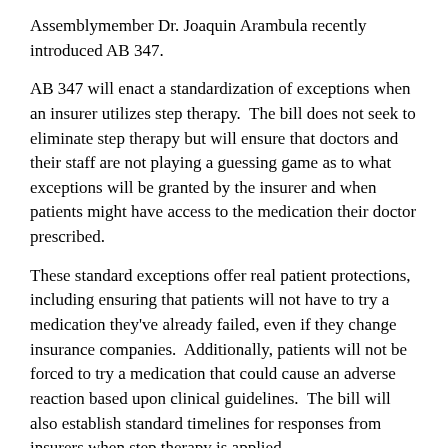Assemblymember Dr. Joaquin Arambula recently introduced AB 347.
AB 347 will enact a standardization of exceptions when an insurer utilizes step therapy.  The bill does not seek to eliminate step therapy but will ensure that doctors and their staff are not playing a guessing game as to what exceptions will be granted by the insurer and when patients might have access to the medication their doctor prescribed.
These standard exceptions offer real patient protections, including ensuring that patients will not have to try a medication they've already failed, even if they change insurance companies.  Additionally, patients will not be forced to try a medication that could cause an adverse reaction based upon clinical guidelines.  The bill will also establish standard timelines for responses from insurers when step therapy is applied.